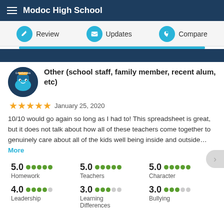Modoc High School
Review   Updates   Compare
Other (school staff, family member, recent alum, etc)
★★★★★  January 25, 2020
10/10 would go again so long as I had to! This spreadsheet is great, but it does not talk about how all of these teachers come together to genuinely care about all of the kids well being inside and outside... More
| Category | Score | Dots |
| --- | --- | --- |
| Homework | 5.0 | ••••• |
| Teachers | 5.0 | ••••• |
| Character | 5.0 | ••••• |
| Leadership | 4.0 | ••••○ |
| Learning Differences | 3.0 | •••○○ |
| Bullying | 3.0 | •••○○ |